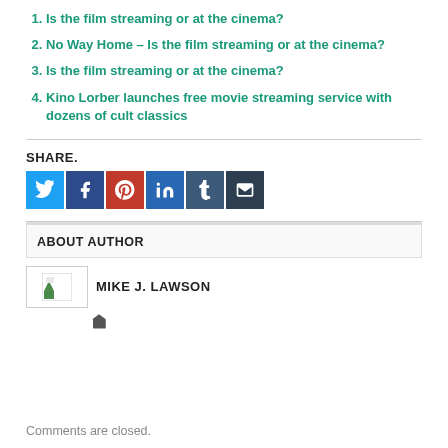1. Is the film streaming or at the cinema?
2. No Way Home – Is the film streaming or at the cinema?
3. Is the film streaming or at the cinema?
4. Kino Lorber launches free movie streaming service with dozens of cult classics
SHARE.
[Figure (infographic): Social share buttons for Twitter, Facebook, Pinterest, LinkedIn, Tumblr, Email]
ABOUT AUTHOR
[Figure (photo): Author photo placeholder for Mike J. Lawson]
MIKE J. LAWSON
Home icon link
Comments are closed.